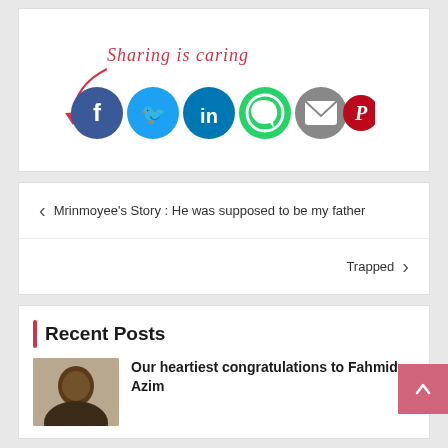[Figure (infographic): Sharing is caring section with social media share buttons: Facebook, Twitter, LinkedIn, WhatsApp, Email, Pinterest, and a sharing app icon, with a red cursive arrow pointing to them]
‹ Mrinmoyee's Story : He was supposed to be my father
Trapped ›
Recent Posts
Our heartiest congratulations to Fahmida Azim